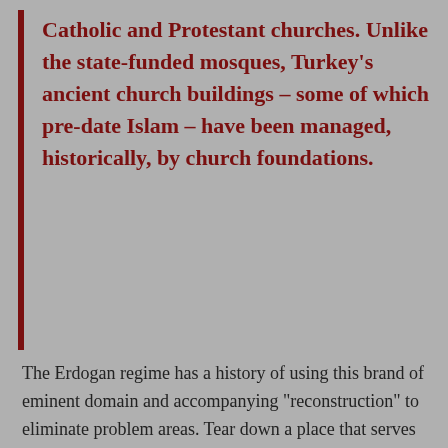Catholic and Protestant churches. Unlike the state-funded mosques, Turkey's ancient church buildings – some of which pre-date Islam – have been managed, historically, by church foundations.
The Erdogan regime has a history of using this brand of eminent domain and accompanying "reconstruction" to eliminate problem areas. Tear down a place that serves as a gathering for people you don't like and replace it with a shopping mall. The Europeans won't complain. They'll float you a loan to do it.
While Obama welcomes Erdogan's megamosque in America, Christians have trouble with churches in Turkey. But Obama instead lobbies Greece to make more space for